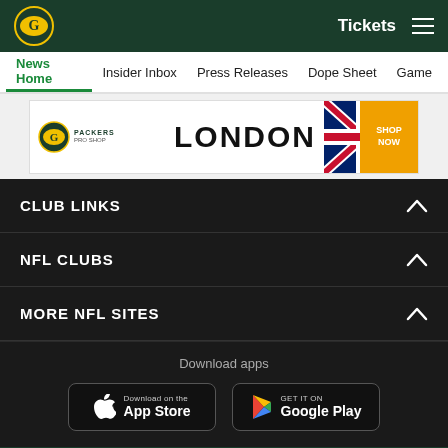Green Bay Packers - Tickets - Menu
News Home | Insider Inbox | Press Releases | Dope Sheet | Game
[Figure (other): Green Bay Packers Pro Shop London advertisement banner with UK flag and Shop Now badge]
CLUB LINKS
NFL CLUBS
MORE NFL SITES
Download apps
[Figure (other): Download on the App Store button]
[Figure (other): Get it on Google Play button]
[Figure (other): Social media icons: Facebook, Twitter, Email, Link]